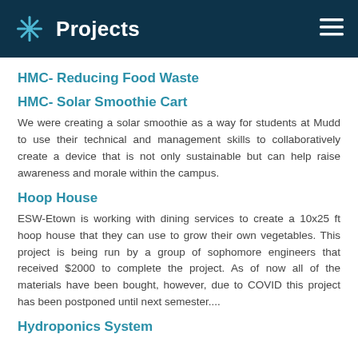Projects
HMC- Reducing Food Waste
HMC- Solar Smoothie Cart
We were creating a solar smoothie as a way for students at Mudd to use their technical and management skills to collaboratively create a device that is not only sustainable but can help raise awareness and morale within the campus.
Hoop House
ESW-Etown is working with dining services to create a 10x25 ft hoop house that they can use to grow their own vegetables. This project is being run by a group of sophomore engineers that received $2000 to complete the project. As of now all of the materials have been bought, however, due to COVID this project has been postponed until next semester....
Hydroponics System